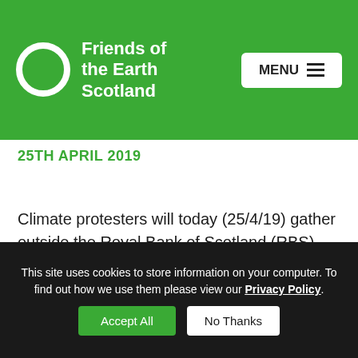Friends of the Earth Scotland
25TH APRIL 2019
Climate protesters will today (25/4/19) gather outside the Royal Bank of Scotland (RBS) Annual General Meeting (AGM) holding banners and chanting their message: “Fossil Banks, No Thanks!”. They want the Bank to end its financing of the fossil fuel projects driving climate change.
This site uses cookies to store information on your computer. To find out how we use them please view our Privacy Policy. Accept All No Thanks